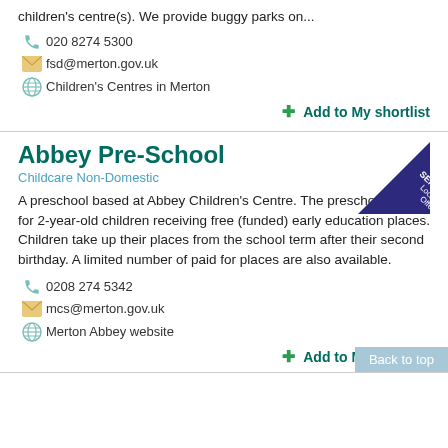children's centre(s). We provide buggy parks on...
020 8274 5300
fsd@merton.gov.uk
Children's Centres in Merton
Add to My shortlist
Abbey Pre-School
Childcare Non-Domestic
A preschool based at Abbey Children's Centre. The preschool caters for 2-year-old children receiving free (funded) early education places. Children take up their places from the school term after their second birthday. A limited number of paid for places are also available.
0208 274 5342
mcs@merton.gov.uk
Merton Abbey website
Add to My shortlist
Back to top